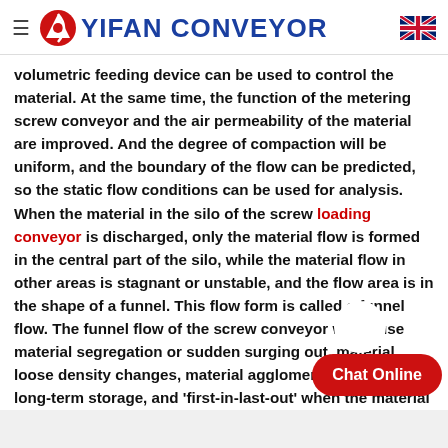YIFAN CONVEYOR
volumetric feeding device can be used to control the material. At the same time, the function of the metering screw conveyor and the air permeability of the material are improved. And the degree of compaction will be uniform, and the boundary of the flow can be predicted, so the static flow conditions can be used for analysis. When the material in the silo of the screw loading conveyor is discharged, only the material flow is formed in the central part of the silo, while the material flow in other areas is stagnant or unstable, and the flow area is in the shape of a funnel. This flow form is called a funnel flow. The funnel flow of the screw conveyor will cause material segregation or sudden surging out, material loose density changes, material agglomeration due to long-term storage, and 'first-in-last-out' when the material is added first and then flows out. In addition, the hopper flow of the screw conveyor is the partial flow of the material in the silo, which actually reduces the effective volume of the silo, and easily causes problems of materials such as collapse and arching, which makes operation difficult